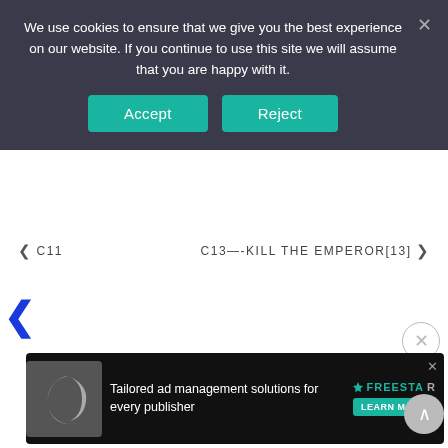We use cookies to ensure that we give you the best experience on our website. If you continue to use this site we will assume that you are happy with it.
Accept
Reject
< C11   C13—-KILL THE EMPEROR[13] >
[Figure (illustration): Blue left-pointing chevron navigation arrow]
[Figure (illustration): Circle with X close button]
[Figure (illustration): Advertisement banner: Tailored ad management solutions for every publisher — Freestar, with Learn More button]
[Figure (illustration): Scroll-to-top circular button with upward arrow]